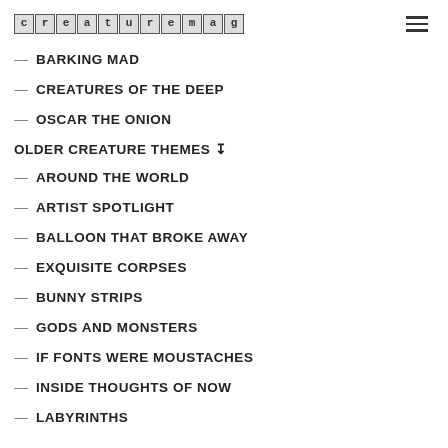creaturemag
BARKING MAD
CREATURES OF THE DEEP
OSCAR THE ONION
OLDER CREATURE THEMES ↧
AROUND THE WORLD
ARTIST SPOTLIGHT
BALLOON THAT BROKE AWAY
EXQUISITE CORPSES
BUNNY STRIPS
GODS AND MONSTERS
IF FONTS WERE MOUSTACHES
INSIDE THOUGHTS OF NOW
LABYRINTHS